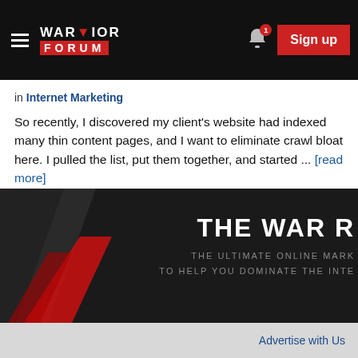Warrior Forum - Sign up
in Internet Marketing
So recently, I discovered my client's website had indexed many thin content pages, and I want to eliminate crawl bloat here. I pulled the list, put them together, and started ... [read more]
Reply   Share
← View all trending topics
[Figure (screenshot): Warrior Forum ad banner showing 'THE WAR R...' headline with 'THE ULTIMATE ONLINE MARK... TO HELP YOU DOMINATE THE INTE...' subtitle on dark background with red graphic elements]
Advertise with Us